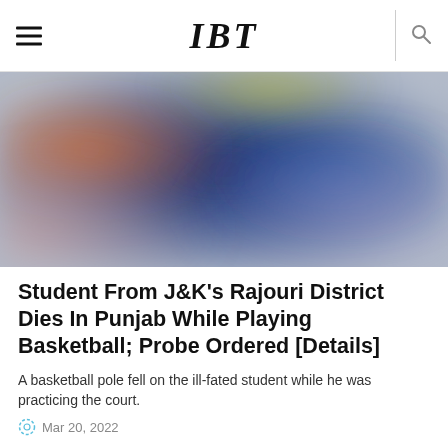IBT
[Figure (photo): Blurred abstract image with dark blue center, orange tones on left, and soft lavender/grey periphery — appears to be a bokeh or out-of-focus sports/outdoor scene.]
Student From J&K's Rajouri District Dies In Punjab While Playing Basketball; Probe Ordered [Details]
A basketball pole fell on the ill-fated student while he was practicing the court.
Mar 20, 2022